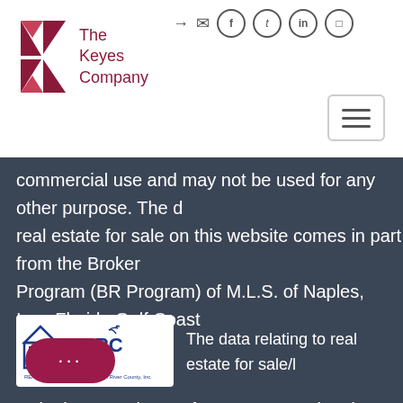[Figure (logo): The Keyes Company logo with red K and text]
[Figure (infographic): Social media icons: login, mail, Facebook, Twitter, LinkedIn, Instagram]
[Figure (other): Hamburger menu button]
commercial use and may not be used for any other purpose. The data real estate for sale on this website comes in part from the Broker Program (BR Program) of M.L.S. of Naples, Inc., Florida Gulf Coast
More...
[Figure (logo): RAIRC - REALTORS Association of Indian River County, Inc. logo]
The data relating to real estate for sale/l
web site come in part from a cooperative data exchange program multiple listing service (MLS) in which this real estate firm (Broke The data is provided exclusively for the user's personal non-comm used for any purpose other than to identify properties ested in purchasing or leasing. The properties display all of the properties in the MLS's database, or all Show More...